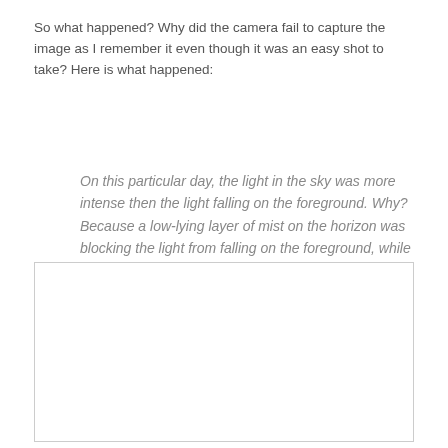So what happened? Why did the camera fail to capture the image as I remember it even though it was an easy shot to take? Here is what happened:
On this particular day, the light in the sky was more intense then the light falling on the foreground. Why? Because a low-lying layer of mist on the horizon was blocking the light from falling on the foreground, while the sky was lit by direct sunlight. When the camera captured the photo, it over-exposed the sky and under-exposed the foreground.
[Figure (photo): A blank white rectangular image placeholder with a thin gray border, representing a photo area.]